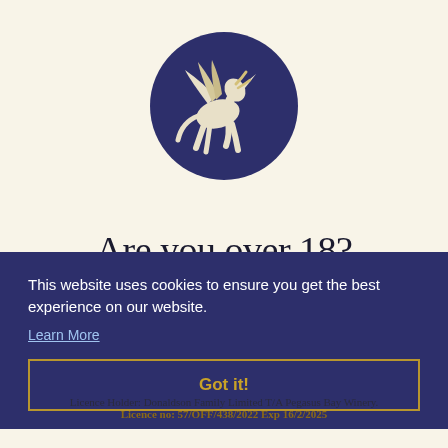[Figure (logo): Pegasus Bay Winery logo: a white winged horse (Pegasus) rearing up on a dark navy blue circle background]
Are you over 18?
To enter this website you must be of legal drinking age.
This website uses cookies to ensure you get the best experience on our website.
Learn More
Got it!
Licence Holder: Donaldson Family Limited T/A Pegasus Bay Winery. Licence no: 57/OFF/438/2022 Exp 16/2/2025